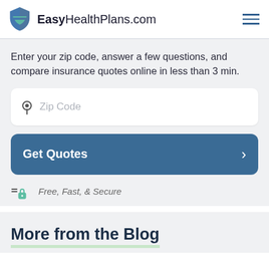EasyHealthPlans.com
Enter your zip code, answer a few questions, and compare insurance quotes online in less than 3 min.
[Figure (other): Zip Code input field with location pin icon]
[Figure (other): Get Quotes button with right arrow]
Free, Fast, & Secure
More from the Blog